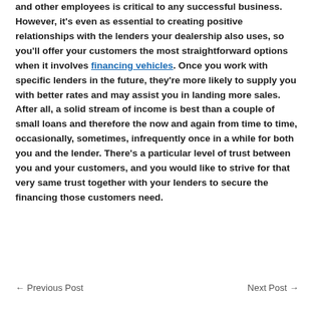and other employees is critical to any successful business. However, it's even as essential to creating positive relationships with the lenders your dealership also uses, so you'll offer your customers the most straightforward options when it involves financing vehicles. Once you work with specific lenders in the future, they're more likely to supply you with better rates and may assist you in landing more sales. After all, a solid stream of income is best than a couple of small loans and therefore the now and again from time to time, occasionally, sometimes, infrequently once in a while for both you and the lender. There's a particular level of trust between you and your customers, and you would like to strive for that very same trust together with your lenders to secure the financing those customers need.
← Previous Post   Next Post →